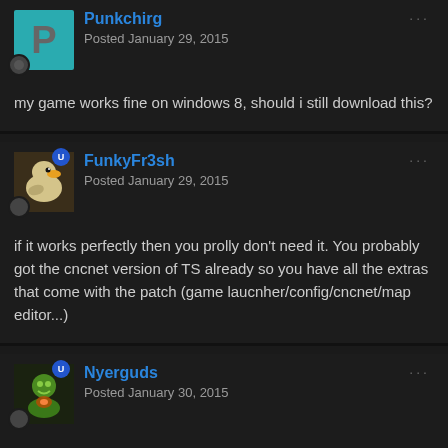Punkchirg — Posted January 29, 2015
my game works fine on windows 8, should i still download this?
FunkyFr3sh — Posted January 29, 2015
if it works perfectly then you prolly don't need it. You probably got the cncnet version of TS already so you have all the extras that come with the patch (game laucnher/config/cncnet/map editor...)
Nyerguds — Posted January 30, 2015
On 1/29/2015 at 1:10 PM, FunkyFr3sh said: